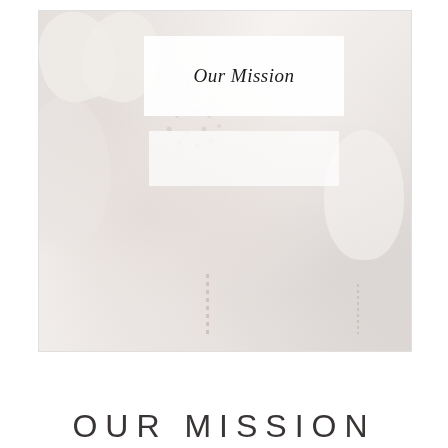[Figure (photo): A soft, light-colored photo of heart-shaped and round balloons with polka dot patterns, held together with a delicate chain ribbon. A white card overlay in the upper center reads 'Our Mission' in elegant script handwriting.]
OUR MISSION